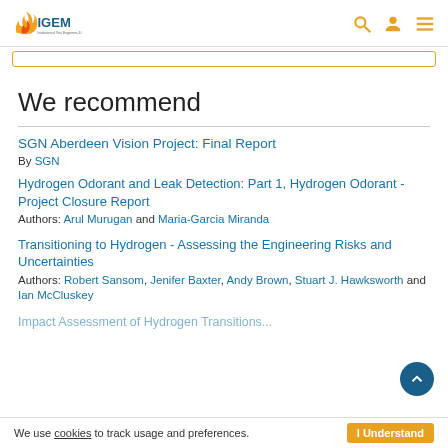IGEM logo with navigation icons
We recommend
SGN Aberdeen Vision Project: Final Report
By SGN
Hydrogen Odorant and Leak Detection: Part 1, Hydrogen Odorant - Project Closure Report
Authors: Arul Murugan and Maria-Garcia Miranda
Transitioning to Hydrogen - Assessing the Engineering Risks and Uncertainties
Authors: Robert Sansom, Jenifer Baxter, Andy Brown, Stuart J. Hawksworth and Ian McCluskey
Impact Assessment of Hydrogen Transitions...
We use cookies to track usage and preferences. I Understand